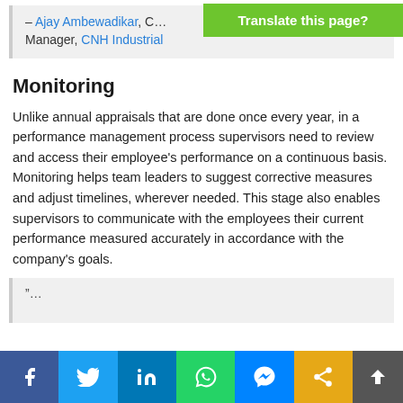– Ajay Ambewadikar, C… Manager, CNH Industrial
[Figure (screenshot): Green 'Translate this page?' banner overlay in top-right corner]
Monitoring
Unlike annual appraisals that are done once every year, in a performance management process supervisors need to review and access their employee's performance on a continuous basis. Monitoring helps team leaders to suggest corrective measures and adjust timelines, wherever needed. This stage also enables supervisors to communicate with the employees their current performance measured accurately in accordance with the company's goals.
[Figure (screenshot): Social sharing bar at bottom with Facebook, Twitter, LinkedIn, WhatsApp, Messenger, Share buttons and dark scroll-to-top arrow]